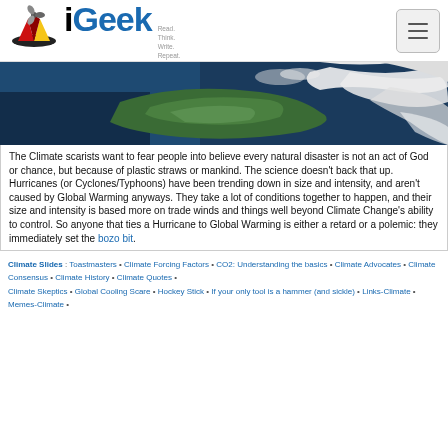iGeek — Read. Think. Write. Repeat.
[Figure (photo): Satellite aerial photograph of a hurricane or tropical storm system showing cloud formations, ocean, and land from above.]
The Climate scarists want to fear people into believe every natural disaster is not an act of God or chance, but because of plastic straws or mankind. The science doesn't back that up. Hurricanes (or Cyclones/Typhoons) have been trending down in size and intensity, and aren't caused by Global Warming anyways. They take a lot of conditions together to happen, and their size and intensity is based more on trade winds and things well beyond Climate Change's ability to control. So anyone that ties a Hurricane to Global Warming is either a retard or a polemic: they immediately set the bozo bit.
Climate Slides : Toastmasters • Climate Forcing Factors • CO2: Understanding the basics • Climate Advocates • Climate Consensus • Climate History • Climate Quotes • Climate Skeptics • Global Cooling Scare • Hockey Stick • If your only tool is a hammer (and sickle) • Links-Climate • Memes-Climate •